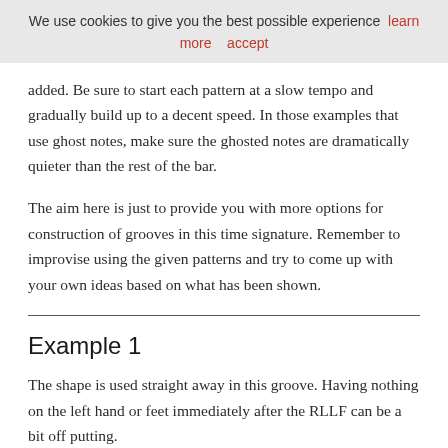We use cookies to give you the best possible experience  learn more  accept
added. Be sure to start each pattern at a slow tempo and gradually build up to a decent speed. In those examples that use ghost notes, make sure the ghosted notes are dramatically quieter than the rest of the bar.
The aim here is just to provide you with more options for construction of grooves in this time signature. Remember to improvise using the given patterns and try to come up with your own ideas based on what has been shown.
Example 1
The shape is used straight away in this groove. Having nothing on the left hand or feet immediately after the RLLF can be a bit off putting.